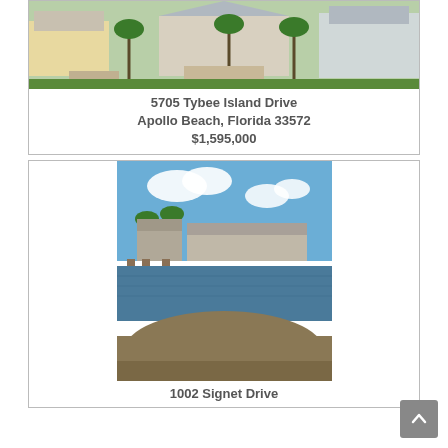[Figure (photo): Aerial view of homes at 5705 Tybee Island Drive, Apollo Beach, Florida — modern houses with palm trees and driveways]
5705 Tybee Island Drive
Apollo Beach, Florida 33572
$1,595,000
[Figure (photo): Waterfront canal view with docks, homes, palm trees, and mound of dirt/sand in foreground — property at 1002 Signet Drive]
1002 Signet Drive